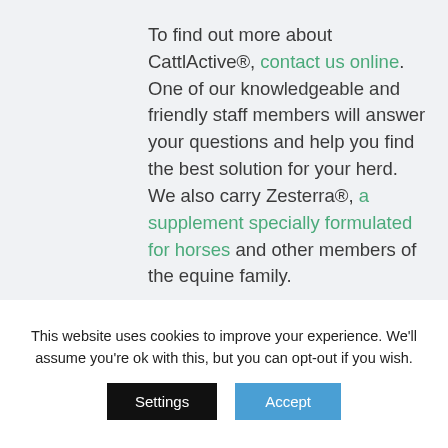To find out more about CattlActive®, contact us online. One of our knowledgeable and friendly staff members will answer your questions and help you find the best solution for your herd. We also carry Zesterra®, a supplement specially formulated for horses and other members of the equine family.
[Figure (photo): Blurred light-colored background photo, likely outdoor/nature scene, muted blue-grey tones]
This website uses cookies to improve your experience. We'll assume you're ok with this, but you can opt-out if you wish.